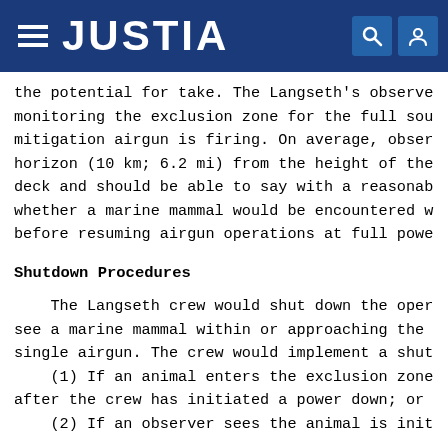JUSTIA
the potential for take. The Langseth's observe monitoring the exclusion zone for the full sou mitigation airgun is firing. On average, obser horizon (10 km; 6.2 mi) from the height of the deck and should be able to say with a reasonab whether a marine mammal would be encountered w before resuming airgun operations at full powe
Shutdown Procedures
The Langseth crew would shut down the oper see a marine mammal within or approaching the single airgun. The crew would implement a shut (1) If an animal enters the exclusion zone after the crew has initiated a power down; or (2) If an observer sees the animal is init
(1) If an animal enters the exclusion zone after the crew has initiated a power down; or
(2) If an observer sees the animal is init